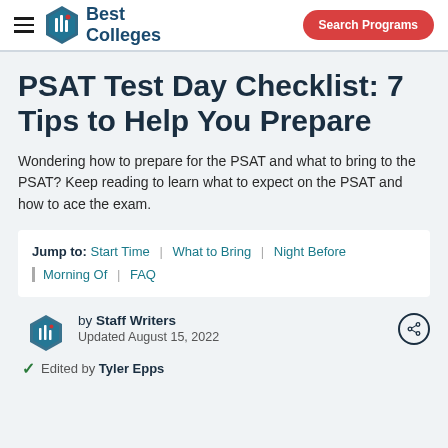Best Colleges | Search Programs
PSAT Test Day Checklist: 7 Tips to Help You Prepare
Wondering how to prepare for the PSAT and what to bring to the PSAT? Keep reading to learn what to expect on the PSAT and how to ace the exam.
Jump to: Start Time | What to Bring | Night Before | Morning Of | FAQ
by Staff Writers
Updated August 15, 2022
Edited by Tyler Epps